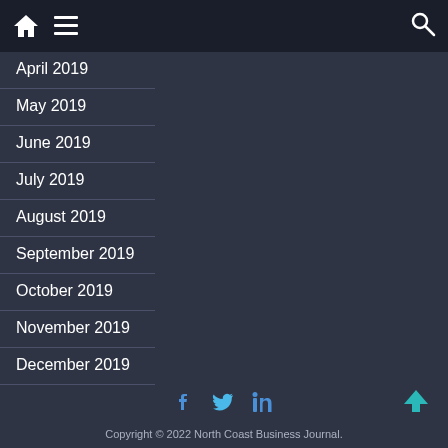Navigation bar with home icon, menu icon, and search icon
April 2019
May 2019
June 2019
July 2019
August 2019
September 2019
October 2019
November 2019
December 2019
Copyright © 2022 North Coast Business Journal.